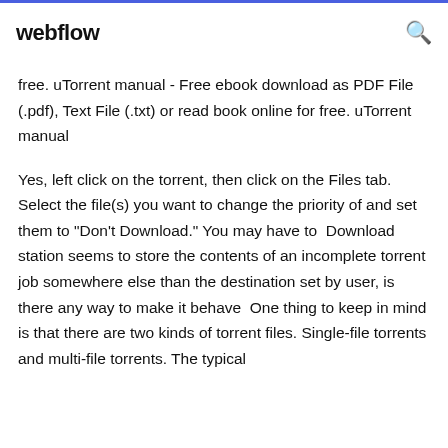webflow
free. uTorrent manual - Free ebook download as PDF File (.pdf), Text File (.txt) or read book online for free. uTorrent manual
Yes, left click on the torrent, then click on the Files tab. Select the file(s) you want to change the priority of and set them to "Don't Download." You may have to  Download station seems to store the contents of an incomplete torrent job somewhere else than the destination set by user, is there any way to make it behave  One thing to keep in mind is that there are two kinds of torrent files. Single-file torrents and multi-file torrents. The typical